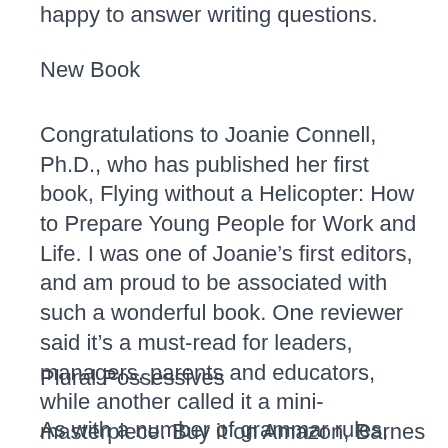happy to answer writing questions.
New Book
Congratulations to Joanie Connell, Ph.D., who has published her first book, Flying without a Helicopter: How to Prepare Young People for Work and Life. I was one of Joanie’s first editors, and am proud to be associated with such a wonderful book. One reviewer said it’s a must-read for leaders, managers, parents and educators, while another called it a mini-masterpiece. Buy it on Amazon, Barnes & Noble and 800 CEO Read.
Plural Possessives
As with a number of grammar rules, what to do when you need to show possession